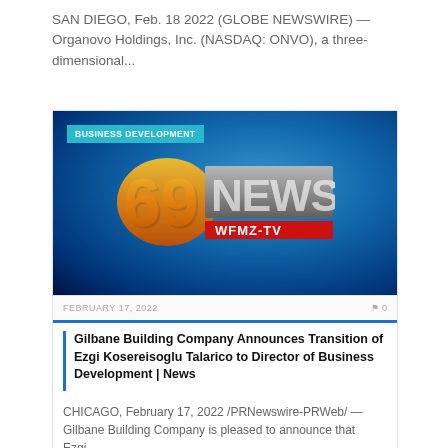SAN DIEGO, Feb. 18 2022 (GLOBE NEWSWIRE) — Organovo Holdings, Inc. (NASDAQ: ONVO), a three-dimensional...
[Figure (screenshot): 69 NEWS WFMZ-TV station logo on blue broadcast background with 'BUSINESS DEVELOPMENT' badge in top-left corner]
FEBRUARY 17, 2022
0
Gilbane Building Company Announces Transition of Ezgi Kosereisoglu Talarico to Director of Business Development | News
CHICAGO, February 17, 2022 /PRNewswire-PRWeb/ — Gilbane Building Company is pleased to announce that Ezgi...